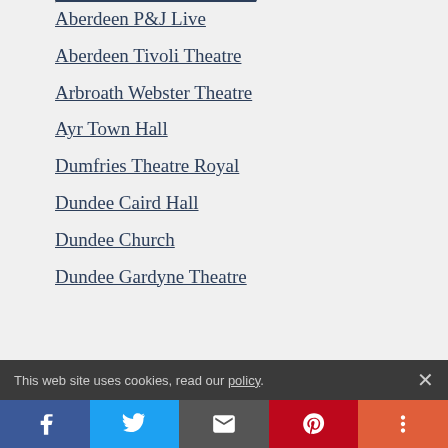Aberdeen P&J Live
Aberdeen Tivoli Theatre
Arbroath Webster Theatre
Ayr Town Hall
Dumfries Theatre Royal
Dundee Caird Hall
Dundee Church
Dundee Gardyne Theatre
This web site uses cookies, read our policy.